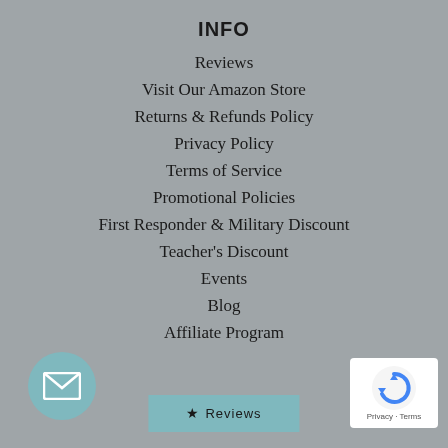INFO
Reviews
Visit Our Amazon Store
Returns & Refunds Policy
Privacy Policy
Terms of Service
Promotional Policies
First Responder & Military Discount
Teacher's Discount
Events
Blog
Affiliate Program
[Figure (illustration): Email/envelope icon in a teal circle]
[Figure (illustration): Reviews button with star icon in teal]
[Figure (logo): Google reCAPTCHA badge with Privacy and Terms links]